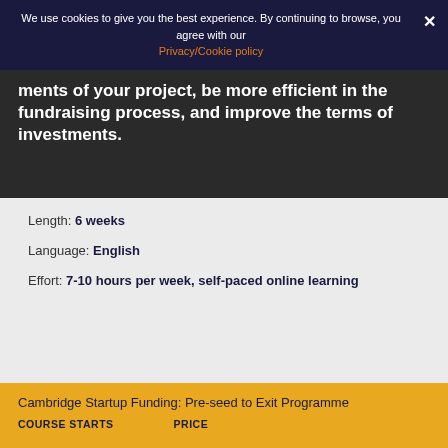We use cookies to give you the best experience. By continuing to browse, you agree with our Privacy/Cookie policy
ments of your project, be more efficient in the fundraising process, and improve the terms of investments.
Length: 6 weeks
Language: English
Effort: 7-10 hours per week, self-paced online learning
Cambridge Startup Funding: Pre-seed to Exit Programme
COURSE STARTS
PRICE
28 September 2022
$2,500